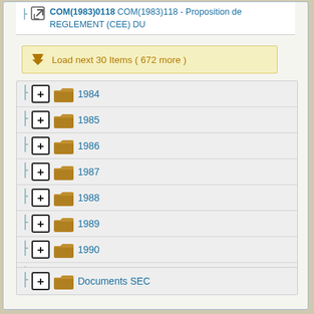COM(1983)0118 COM(1983)118 - Proposition de REGLEMENT (CEE) DU
Load next 30 Items ( 672 more )
1984
1985
1986
1987
1988
1989
1990
1991
Documents SEC